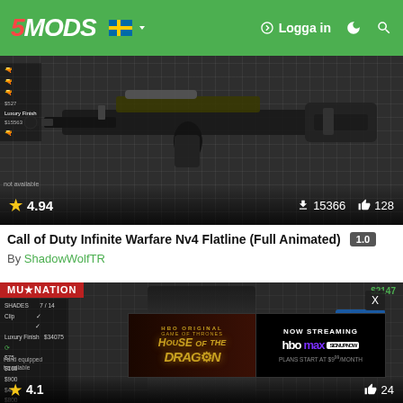5MODS | Logga in
[Figure (screenshot): Game screenshot showing a black assault rifle (Nv4 Flatline) mounted on a pegboard background, with in-game UI showing pricing and options. Rating: 4.94 stars, 15366 downloads, 128 likes.]
Call of Duty Infinite Warfare Nv4 Flatline (Full Animated) 1.0
By ShadowWolfTR
[Figure (screenshot): Game screenshot showing a character with arms crossed in a gun shop (Ammu-Nation), with in-game menu UI showing shades and weapon options. Rating 4.1, 24 likes. An ad for House of the Dragon (HBO Max, Now Streaming, plans start at $9.99/month) overlays the bottom portion.]